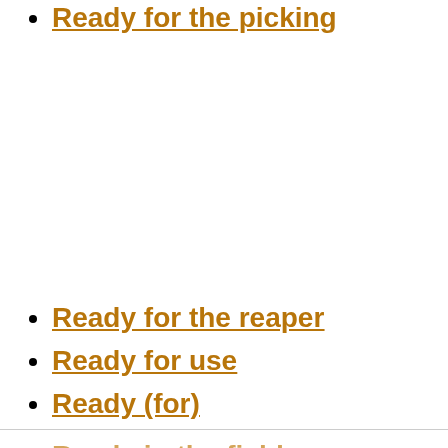Ready for the picking
Ready for the reaper
Ready for use
Ready (for)
Ready in the field
Ready now